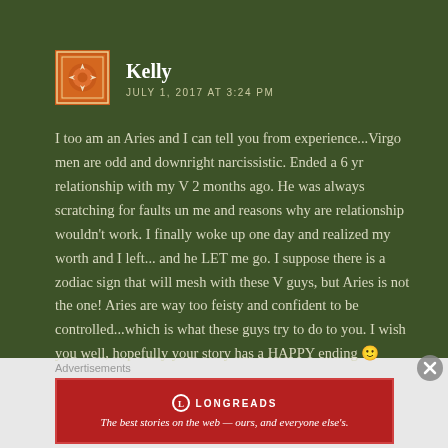[Figure (illustration): Orange decorative avatar icon with floral/geometric pattern on dark green background]
Kelly
JULY 1, 2017 AT 3:24 PM
I too am an Aries and I can tell you from experience...Virgo men are odd and downright narcissistic. Ended a 6 yr relationship with my V 2 months ago. He was always scratching for faults un me and reasons why are relationship wouldn't work. I finally woke up one day and realized my worth and I left... and he LET me go. I suppose there is a zodiac sign that will mesh with these V guys, but Aries is not the one! Aries are way too feisty and confident to be controlled...which is what these guys try to do to you. I wish you well, hopefully your story has a HAPPY ending 🙂
Advertisements
[Figure (logo): Longreads advertisement banner: The best stories on the web — ours, and everyone else's.]